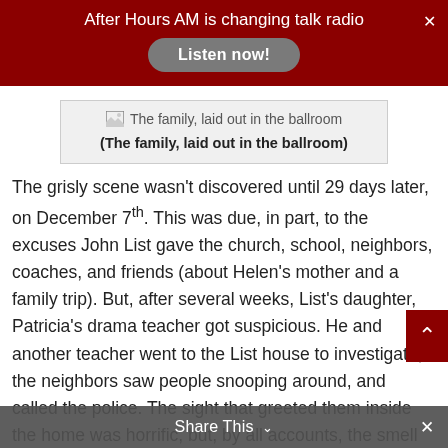After Hours AM is changing talk radio
[Figure (screenshot): Listen now! button on dark red banner background]
[Figure (photo): Image placeholder: The family, laid out in the ballroom]
(The family, laid out in the ballroom)
The grisly scene wasn't discovered until 29 days later, on December 7th. This was due, in part, to the excuses John List gave the church, school, neighbors, coaches, and friends (about Helen's mother and a family trip). But, after several weeks, List's daughter, Patricia's drama teacher got suspicious. He and another teacher went to the List house to investigate, the neighbors saw people snooping around, and called the police. The sight that greeted them inside the home was horrific, but, by all accounts, the smell was worse. Though John had turned down the thermostat, the decomposition had begun and the pungent odor that
Share This